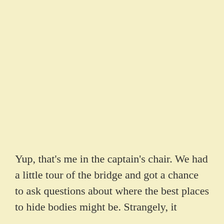Yup, that's me in the captain's chair. We had a little tour of the bridge and got a chance to ask questions about where the best places to hide bodies might be. Strangely, it